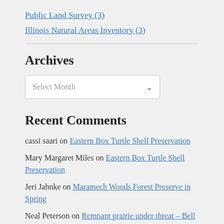Public Land Survey (3)
Illinois Natural Areas Inventory (3)
Archives
Select Month
Recent Comments
cassi saari on Eastern Box Turtle Shell Preservation
Mary Margaret Miles on Eastern Box Turtle Shell Preservation
Jeri Jahnke on Maramech Woods Forest Preserve in Spring
Neal Peterson on Remnant prairie under threat – Bell